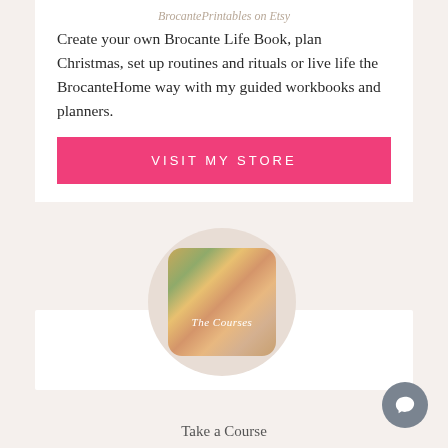BrocantePrintables on Etsy
Create your own Brocante Life Book, plan Christmas, set up routines and rituals or live life the BrocanteHome way with my guided workbooks and planners.
VISIT MY STORE
[Figure (illustration): Circular image containing a rounded-rectangle cropped painting of a woman with floral background, labeled 'The Courses' in script text]
Take a Course